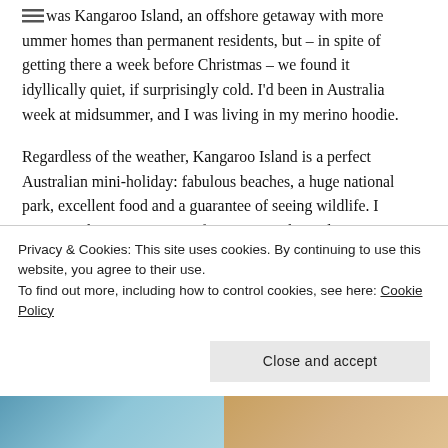was Kangaroo Island, an offshore getaway with more summer homes than permanent residents, but – in spite of getting there a week before Christmas – we found it idyllically quiet, if surprisingly cold. I'd been in Australia week at midsummer, and I was living in my merino hoodie.
Regardless of the weather, Kangaroo Island is a perfect Australian mini-holiday: fabulous beaches, a huge national park, excellent food and a guarantee of seeing wildlife. I saw more kangaroos on our first evening than I'd seen in my life, and pelicans, black swans and koalas soon joined them (if not in circumstances where I could get a photo of them). If the animals are shy, the island is ridiculously
Privacy & Cookies: This site uses cookies. By continuing to use this website, you agree to their use.
To find out more, including how to control cookies, see here: Cookie Policy
[Figure (photo): Two side-by-side photos at the bottom of the page — left appears to be a blue/ocean scene, right appears to be a sandy/warm-toned scene]